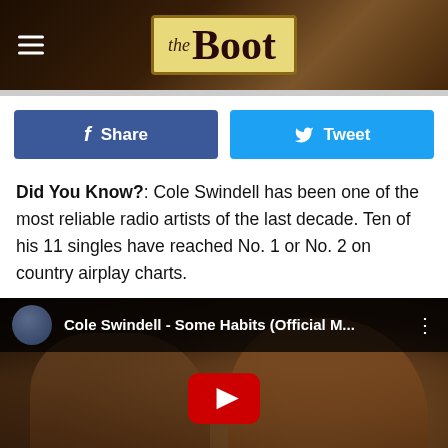the Boot
Share | Tweet
Did You Know?: Cole Swindell has been one of the most reliable radio artists of the last decade. Ten of his 11 singles have reached No. 1 or No. 2 on country airplay charts.
[Figure (screenshot): YouTube video embed showing Cole Swindell - Some Habits (Official M...) with play button, channel avatar, and a couple in the background thumbnail]